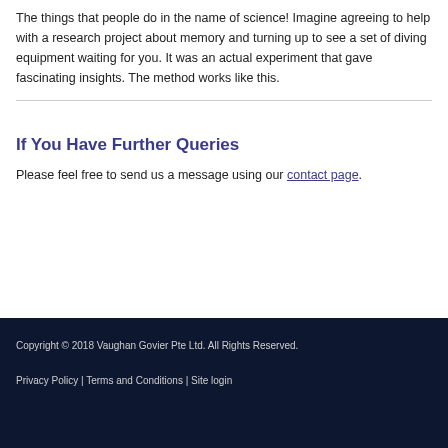The things that people do in the name of science! Imagine agreeing to help with a research project about memory and turning up to see a set of diving equipment waiting for you. It was an actual experiment that gave fascinating insights. The method works like this.
If You Have Further Queries
Please feel free to send us a message using our contact page.
Copyright © 2018 Vaughan Govier Pte Ltd. All Rights Reserved.
Privacy Policy | Terms and Conditions | Site login